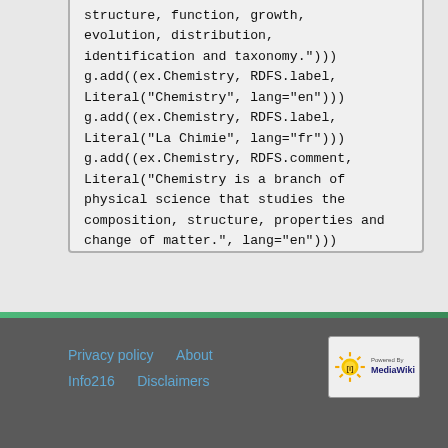structure, function, growth,
evolution, distribution,
identification and taxonomy."))
g.add((ex.Chemistry, RDFS.label,
Literal("Chemistry", lang="en")))
g.add((ex.Chemistry, RDFS.label,
Literal("La Chimie", lang="fr")))
g.add((ex.Chemistry, RDFS.comment,
Literal("Chemistry is a branch of
physical science that studies the
composition, structure, properties and
change of matter.", lang="en")))

# Write OWL triples here
Privacy policy   About   Info216   Disclaimers